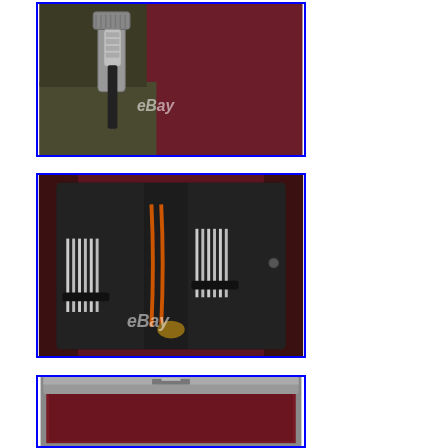[Figure (photo): Close-up photo of a metallic tool or drill bit connector with a black handle against a dark red/maroon textured background. eBay watermark visible.]
[Figure (photo): Photo of an open black leather tool roll/pouch containing multiple metal files or needles held by leather straps, with an orange rubber band or cable. eBay watermark visible.]
[Figure (photo): Photo of a rectangular metal case or tin with a dark red/maroon velvet interior, partially visible at the bottom of the page.]